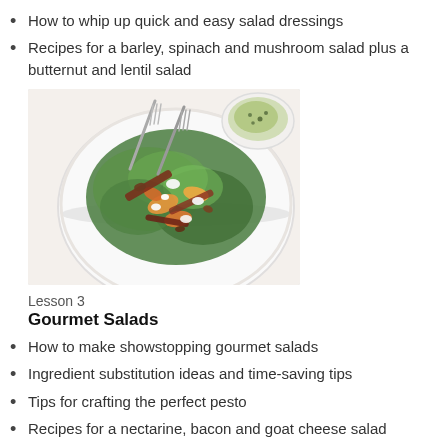How to whip up quick and easy salad dressings
Recipes for a barley, spinach and mushroom salad plus a butternut and lentil salad
[Figure (photo): A white plate with a colorful salad of arugula, roasted vegetables, crumbled white cheese, and pecans with two forks, alongside a small bowl of herb dressing.]
Lesson 3
Gourmet Salads
How to make showstopping gourmet salads
Ingredient substitution ideas and time-saving tips
Tips for crafting the perfect pesto
Recipes for a nectarine, bacon and goat cheese salad